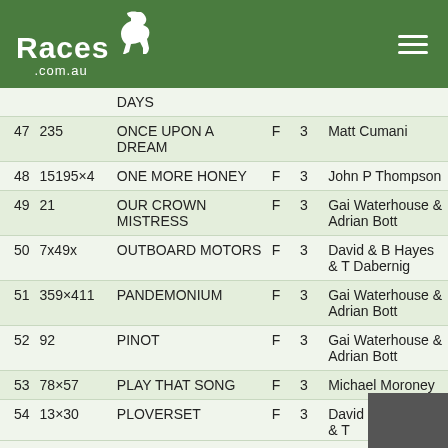Races.com.au
| # | ID | Name | Sex | Age | Trainer |
| --- | --- | --- | --- | --- | --- |
|  |  | DAYS |  |  |  |
| 47 | 235 | ONCE UPON A DREAM | F | 3 | Matt Cumani |
| 48 | 15195×4 | ONE MORE HONEY | F | 3 | John P Thompson |
| 49 | 21 | OUR CROWN MISTRESS | F | 3 | Gai Waterhouse & Adrian Bott |
| 50 | 7x49x | OUTBOARD MOTORS | F | 3 | David & B Hayes & T Dabernig |
| 51 | 359×411 | PANDEMONIUM | F | 3 | Gai Waterhouse & Adrian Bott |
| 52 | 92 | PINOT | F | 3 | Gai Waterhouse & Adrian Bott |
| 53 | 78×57 | PLAY THAT SONG | F | 3 | Michael Moroney |
| 54 | 13×30 | PLOVERSET | F | 3 | David & B Hayes & T... |